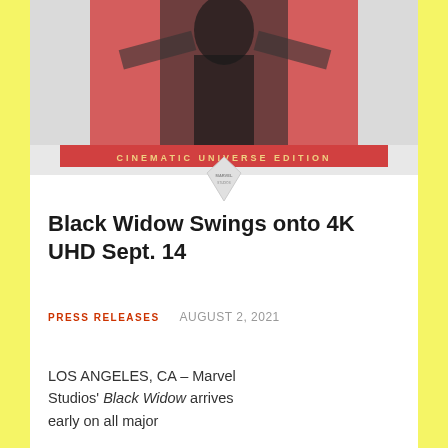[Figure (photo): Black Widow movie product image showing a figure in black suit against red background with 'CINEMATIC UNIVERSE EDITION' text banner]
Black Widow Swings onto 4K UHD Sept. 14
PRESS RELEASES    AUGUST 2, 2021
LOS ANGELES, CA – Marvel Studios' Black Widow arrives early on all major